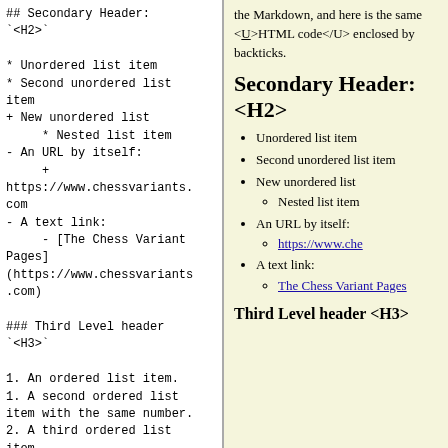## Secondary Header:
`<H2>`

* Unordered list item
* Second unordered list item
+ New unordered list
    * Nested list item
- An URL by itself:
    + https://www.chessvariants.com
- A text link:
    - [The Chess Variant Pages](https://www.chessvariants.com)

### Third Level header
`<H3>`

1. An ordered list item.
1. A second ordered list item with the same number.
2. A third ordered list item.

![Alt text for a graphic image](/graphics.dir/cvp-logo-draft8.png)
the Markdown, and here is the same <U>HTML code</U> enclosed by backticks.
Secondary Header: <H2>
Unordered list item
Second unordered list item
New unordered list
Nested list item
An URL by itself: https://www.che
A text link: The Chess Variant Pages
Third Level header <H3>